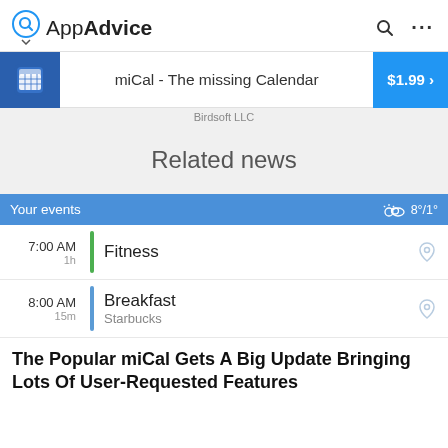AppAdvice
miCal - The missing Calendar  $1.99 >
Birdsoft LLC
Related news
[Figure (screenshot): miCal calendar app screenshot showing events: Your events bar with weather 8°/1°, 7:00 AM 1h Fitness, 8:00 AM 15m Breakfast at Starbucks]
The Popular miCal Gets A Big Update Bringing Lots Of User-Requested Features